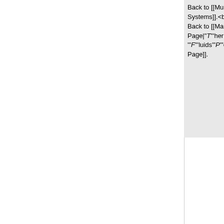Back to [[Multiphase Systems]].<br> Back to [[Main Page|'T''hermal-'''F'''luids'''P'''edia Main Page]].
Back to [[Multiphase Systems]].<br> Back to [[Main Page|'T''hermal-'''F'''luids'''P'''edia Main Page]].
+ +==References== + Faghri, A., Zhang, Y., and Howell, J. R., 2010, "Advanced Heat and Mass Transfer", Global Digital Press, Columbia, MO. + Faghri, A., and Zhang, Y., 2006, Transport Phenomena in Multiphase Systems, Elsevier, Burlington, MA. + +==Further Reading== +